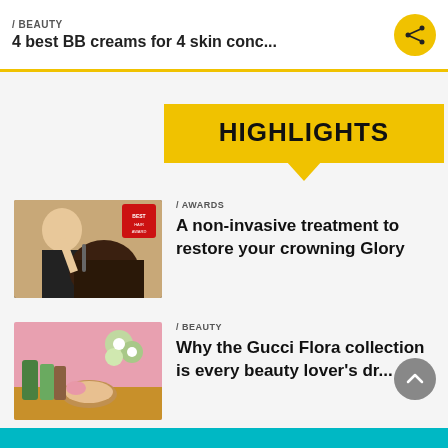/ BEAUTY
4 best BB creams for 4 skin conc...
HIGHLIGHTS
[Figure (photo): A person performing a hair treatment on another person, with a red badge/award sticker visible]
/ AWARDS
A non-invasive treatment to restore your crowning Glory
[Figure (photo): Gucci Flora beauty collection products displayed on a gold table with pink background and flowers]
/ BEAUTY
Why the Gucci Flora collection is every beauty lover's dr...